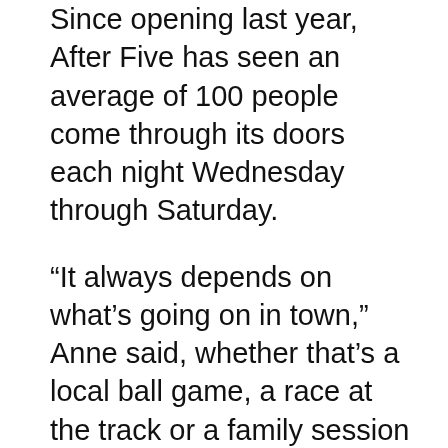Since opening last year, After Five has seen an average of 100 people come through its doors each night Wednesday through Saturday.
“It always depends on what’s going on in town,” Anne said, whether that’s a local ball game, a race at the track or a family session at the local photography studio. “It’s amazing to me all the things we have in Madison. We all benefit from one another.”
Val, the city manager, characterizes the local business community as well rounded, with strong sectors in agriculture and government.
“People can usually find what they need in town. And business owners are very willing to